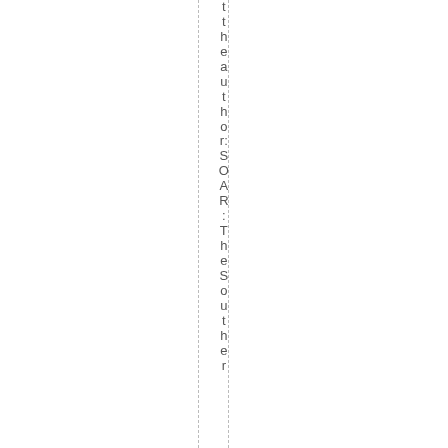tthe author: SOAR: The Souther